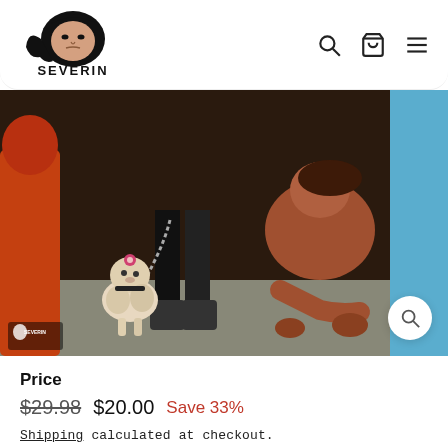SEVERIN (logo)
[Figure (photo): Product image showing a small fluffy white dog on a leash held by a figure in black, with another figure crouching in the background. Severin Films branding logo in lower left corner. Blue border on right side.]
Price
$29.98  $20.00  Save 33%
Shipping calculated at checkout.